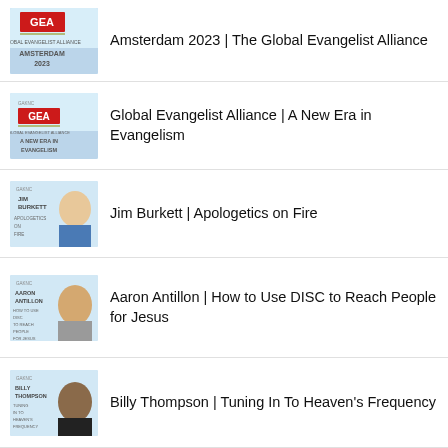Amsterdam 2023 | The Global Evangelist Alliance
Global Evangelist Alliance | A New Era in Evangelism
Jim Burkett | Apologetics on Fire
Aaron Antillon | How to Use DISC to Reach People for Jesus
Billy Thompson | Tuning In To Heaven's Frequency